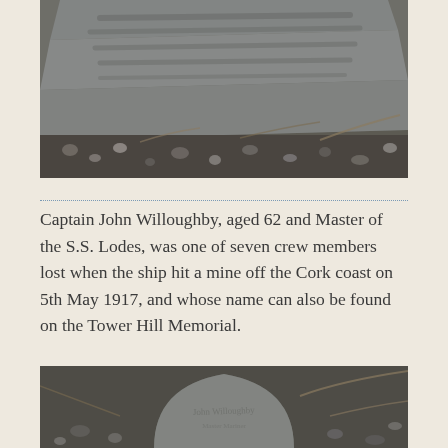[Figure (photo): A weathered grey stone grave marker or memorial plaque lying flat on ground covered with soil, pebbles and dried vegetation. Inscribed text is partially visible on the stone surface.]
Captain John Willoughby, aged 62 and Master of the S.S. Lodes, was one of seven crew members lost when the ship hit a mine off the Cork coast on 5th May 1917, and whose name can also be found on the Tower Hill Memorial.
[Figure (photo): A weathered grey stone grave or memorial marker photographed from above, lying among soil and twigs. Faint inscribed text is barely legible on the stone surface.]